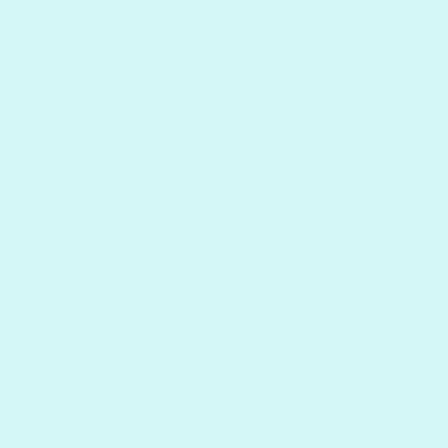las
line
abc
you
adi
lovi
it
was
tac
on
to
the
enc
by
a
diff
rev
I'm
not
sur
tha
ma
a
diff